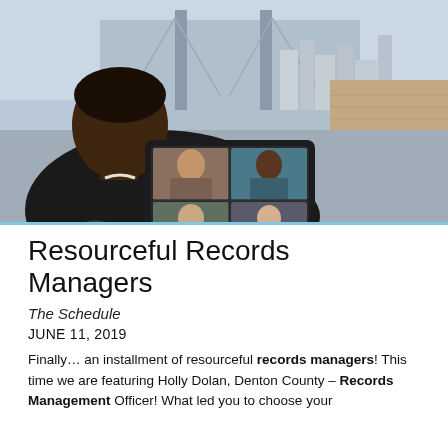[Figure (photo): A person seen from behind holding a tablet device showing a video conference with multiple participants. In the background is a bridge and city skyline.]
Resourceful Records Managers
The Schedule
JUNE 11, 2019
Finally… an installment of resourceful records managers! This time we are featuring Holly Dolan, Denton County – Records Management Officer! What led you to choose your